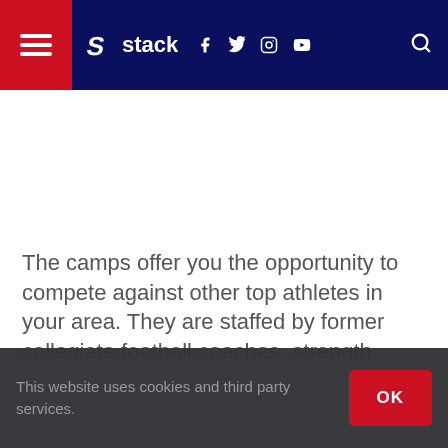Stack — navigation header with hamburger menu, logo, social icons (Facebook, Twitter, Instagram, YouTube), and search
The camps offer you the opportunity to compete against other top athletes in your area. They are staffed by former collegiate football coaches, strength coaches and players, who know what it takes to succeed at the next level. "We aren't a camp that just gets as many athletes
This website uses cookies and third party services.